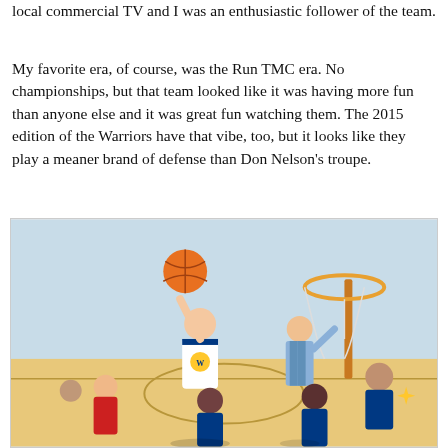local commercial TV and I was an enthusiastic follower of the team.
My favorite era, of course, was the Run TMC era. No championships, but that team looked like it was having more fun than anyone else and it was great fun watching them. The 2015 edition of the Warriors have that vibe, too, but it looks like they play a meaner brand of defense than Don Nelson's troupe.
[Figure (illustration): Colorful cartoon/caricature illustration of the Golden State Warriors basketball team, showing players in blue and gold uniforms on a basketball court with a basketball hoop visible, and a coach figure in a suit. Multiple players depicted with exaggerated caricature features.]